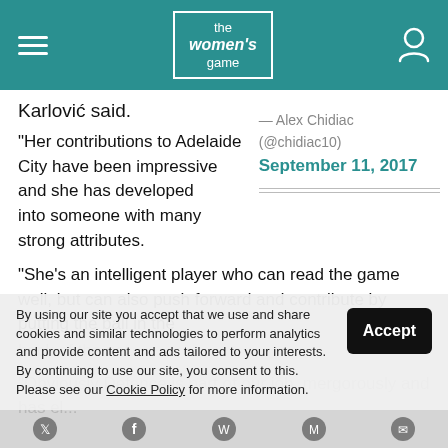the women's game
Karlović said.
— Alex Chidiac (@chidiac10) September 11, 2017
“Her contributions to Adelaide City have been impressive and she has developed into someone with many strong attributes.
“She’s an intelligent player who can read the game well, but can also push forward and contribute by putting the ball in the back of the net.
By using our site you accept that we use and share cookies and similar technologies to perform analytics and provide content and ads tailored to your interests. By continuing to use our site, you consent to this. Please see our Cookie Policy for more information.